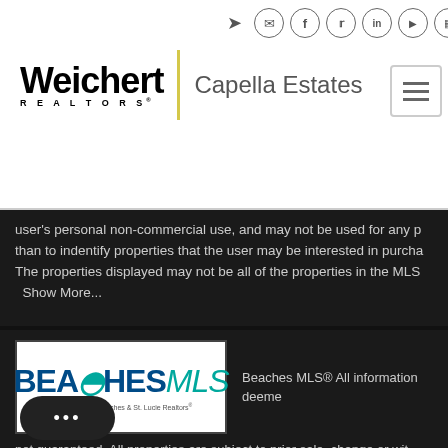Weichert REALTORS Capella Estates — navigation header with social icons and hamburger menu
user's personal non-commercial use, and may not be used for any p than to indentify properties that the user may be interested in purcha The properties displayed may not be all of the properties in the MLS
Show More...
[Figure (logo): Beaches MLS logo — Broward, Palm Beaches & St. Lucie Realtors]
Beaches MLS® All information deeme not guaranteed. All properties are subject to prior sale, change or wit Neither listing broker(s) or information provider(s) shall be responsib typographical errors, misinformation, misprints and shall be held tota rmation is provided for consumer's personal, non-comm may not be used for any purpose other than to identify prospective p